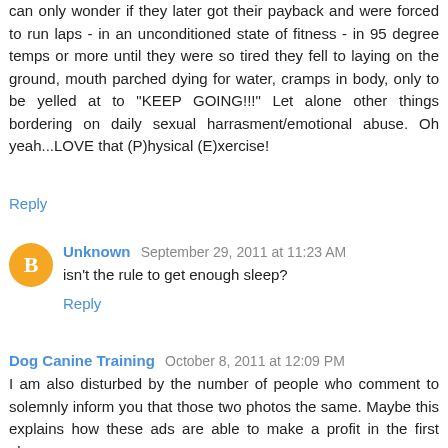can only wonder if they later got their payback and were forced to run laps - in an unconditioned state of fitness - in 95 degree temps or more until they were so tired they fell to laying on the ground, mouth parched dying for water, cramps in body, only to be yelled at to "KEEP GOING!!!" Let alone other things bordering on daily sexual harrasment/emotional abuse. Oh yeah...LOVE that (P)hysical (E)xercise!
Reply
Unknown  September 29, 2011 at 11:23 AM
isn't the rule to get enough sleep?
Reply
Dog Canine Training  October 8, 2011 at 12:09 PM
I am also disturbed by the number of people who comment to solemnly inform you that those two photos the same. Maybe this explains how these ads are able to make a profit in the first place.